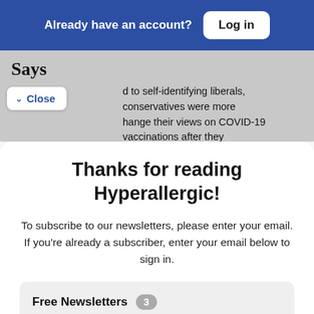Already have an account? Log in
Says
...d to self-identifying liberals, conservatives were more ...hange their views on COVID-19 vaccinations after they
Thanks for reading Hyperallergic!
To subscribe to our newsletters, please enter your email. If you're already a subscriber, enter your email below to sign in.
Free Newsletters  3
Daily — The latest stories every weekday morning